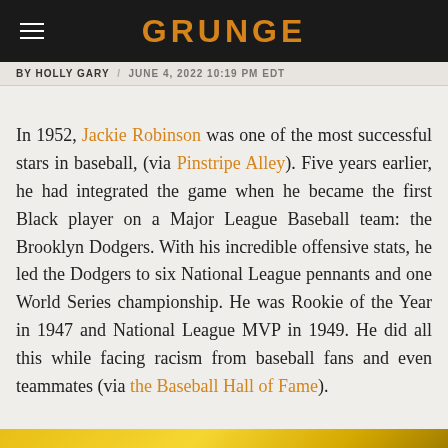GRUNGE
BY HOLLY GARY / JUNE 4, 2022 10:19 PM EDT
In 1952, Jackie Robinson was one of the most successful stars in baseball, (via Pinstripe Alley). Five years earlier, he had integrated the game when he became the first Black player on a Major League Baseball team: the Brooklyn Dodgers. With his incredible offensive stats, he led the Dodgers to six National League pennants and one World Series championship. He was Rookie of the Year in 1947 and National League MVP in 1949. He did all this while facing racism from baseball fans and even teammates (via the Baseball Hall of Fame).
[Figure (photo): Bottom portion of image showing Torino 2006 Olympics branding on yellow background]